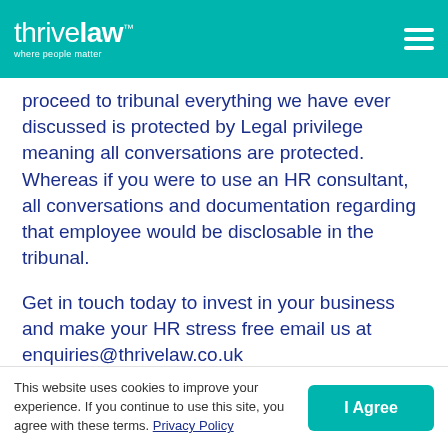thrive law™ — where people matter
proceed to tribunal everything we have ever discussed is protected by Legal privilege meaning all conversations are protected. Whereas if you were to use an HR consultant, all conversations and documentation regarding that employee would be disclosable in the tribunal.
Get in touch today to invest in your business and make your HR stress free email us at enquiries@thrivelaw.co.uk
Best regards, Oliv...
This website uses cookies to improve your experience. If you continue to use this site, you agree with these terms. Privacy Policy